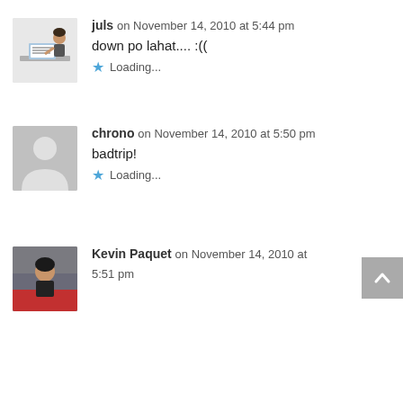juls on November 14, 2010 at 5:44 pm
down po lahat.... :((
Loading...
chrono on November 14, 2010 at 5:50 pm
badtrip!
Loading...
Kevin Paquet on November 14, 2010 at 5:51 pm